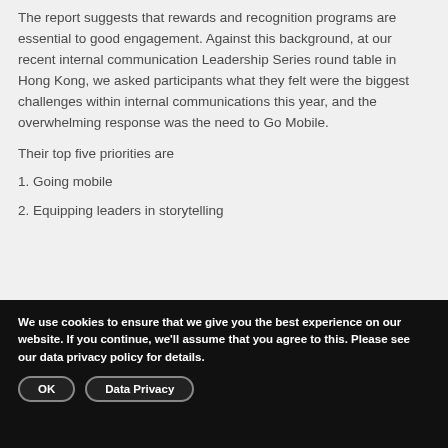The report suggests that rewards and recognition programs are essential to good engagement. Against this background, at our recent internal communication Leadership Series round table in Hong Kong, we asked participants what they felt were the biggest challenges within internal communications this year, and the overwhelming response was the need to Go Mobile.
Their top five priorities are
1. Going mobile
2. Equipping leaders in storytelling
We use cookies to ensure that we give you the best experience on our website. If you continue, we'll assume that you agree to this. Please see our data privacy policy for details.